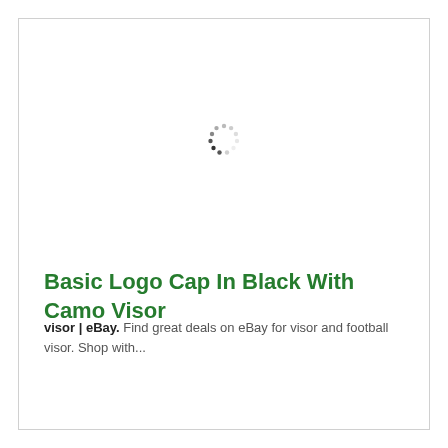[Figure (other): Loading spinner graphic — a circular arrangement of small dots in varying shades of gray, indicating a loading state]
Basic Logo Cap In Black With Camo Visor
visor | eBay. Find great deals on eBay for visor and football visor. Shop with...